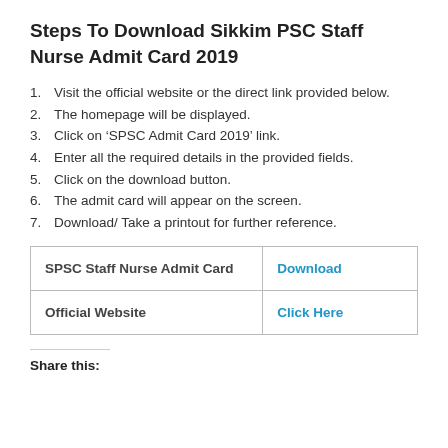Steps To Download Sikkim PSC Staff Nurse Admit Card 2019
Visit the official website or the direct link provided below.
The homepage will be displayed.
Click on ‘SPSC Admit Card 2019’ link.
Enter all the required details in the provided fields.
Click on the download button.
The admit card will appear on the screen.
Download/ Take a printout for further reference.
| SPSC Staff Nurse Admit Card | Download |
| Official Website | Click Here |
Share this: